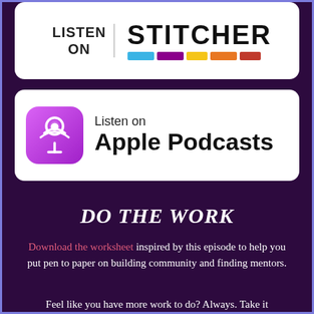[Figure (logo): Listen on Stitcher badge — white rounded rectangle with LISTEN ON text on left and STITCHER logo with colored bars on right]
[Figure (logo): Listen on Apple Podcasts badge — white rounded rectangle with Apple Podcasts purple icon on left and Listen on Apple Podcasts text on right]
DO THE WORK
Download the worksheet inspired by this episode to help you put pen to paper on building community and finding mentors.
Feel like you have more work to do? Always. Take it